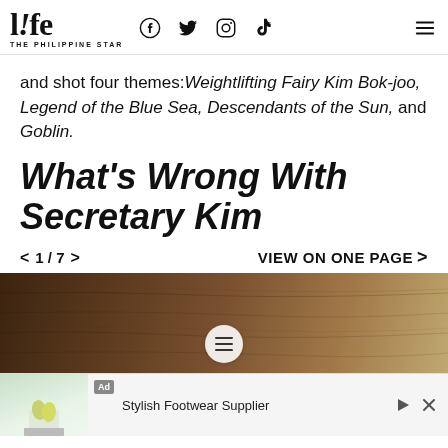life THE PHILIPPINE STAR — social icons: Facebook, Twitter, Instagram, TikTok, Menu
and shot four themes: Weightlifting Fairy Kim Bok-joo, Legend of the Blue Sea, Descendants of the Sun, and Goblin.
What's Wrong With Secretary Kim
< 1 / 7 >    VIEW ON ONE PAGE >
[Figure (photo): Wooden surface background image with a hamburger menu icon overlay]
Ad  Stylish Footwear Supplier